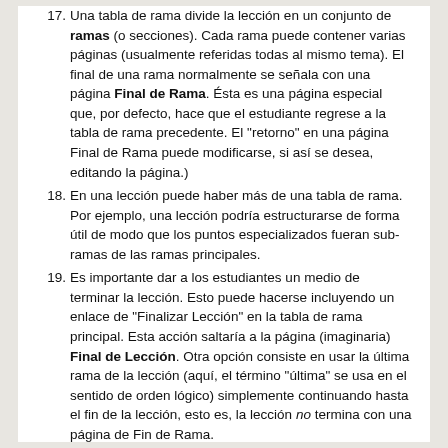17. Una tabla de rama divide la lección en un conjunto de ramas (o secciones). Cada rama puede contener varias páginas (usualmente referidas todas al mismo tema). El final de una rama normalmente se señala con una página Final de Rama. Ésta es una página especial que, por defecto, hace que el estudiante regrese a la tabla de rama precedente. El "retorno" en una página Final de Rama puede modificarse, si así se desea, editando la página.)
18. En una lección puede haber más de una tabla de rama. Por ejemplo, una lección podría estructurarse de forma útil de modo que los puntos especializados fueran sub-ramas de las ramas principales.
19. Es importante dar a los estudiantes un medio de terminar la lección. Esto puede hacerse incluyendo un enlace de "Finalizar Lección" en la tabla de rama principal. Esta acción saltaría a la página (imaginaria) Final de Lección. Otra opción consiste en usar la última rama de la lección (aquí, el término "última" se usa en el sentido de orden lógico) simplemente continuando hasta el fin de la lección, esto es, la lección no termina con una página de Fin de Rama.
20. Cuando una lección incluye una o más tablas de rama, conviene ajustar el "Número mínimo de preguntas" a un